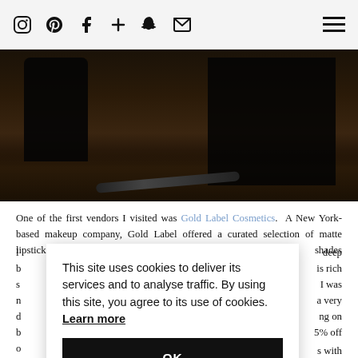Social media icons: Instagram, Pinterest, Facebook, Plus, Snapchat, Email. Hamburger menu.
[Figure (photo): Dark moody photo showing a person kneeling on a wooden floor with dark draped fabric, low-key lighting.]
One of the first vendors I visited was Gold Label Cosmetics. A New York-based makeup company, Gold Label offered a curated selection of matte lipsticks and liquid matte lipstick pens in shades that suit a wide variety of skin tones. From nudes and neutrals to deep berry and plum shades, the Gold Label collection is rich ... I was ... a very ... ng on ... 5% off ...
This site uses cookies to deliver its services and to analyse traffic. By using this site, you agree to its use of cookies. Learn more
OK
... s with her ultra-chic line of 8-free nail lacquers. Mischo Beauty is a DC-based